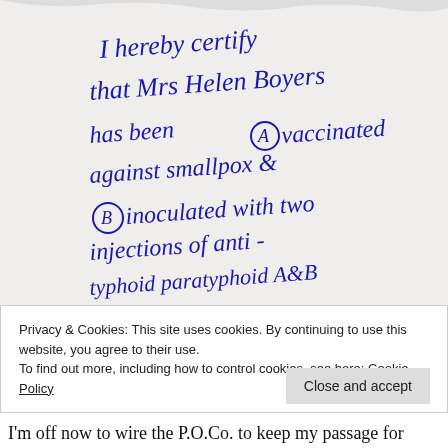[Figure (photo): Handwritten medical certificate in blue ink on white/cream paper. Text reads: 'I hereby certify that Mrs Helen Boyers has been (A) vaccinated against smallpox & (B) inoculated with two injections of anti-typhoid paratyphoid A&B & cholera vaccine, during the month of April 1969.']
Privacy & Cookies: This site uses cookies. By continuing to use this website, you agree to their use.
To find out more, including how to control cookies, see here: Cookie Policy
Close and accept
I'm off now to wire the P.O.Co. to keep my passage for